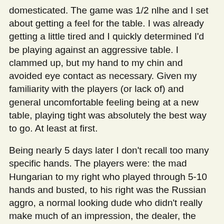domesticated. The game was 1/2 nlhe and I set about getting a feel for the table. I was already getting a little tired and I quickly determined I'd be playing against an aggressive table. I clammed up, but my hand to my chin and avoided eye contact as necessary. Given my familiarity with the players (or lack of) and general uncomfortable feeling being at a new table, playing tight was absolutely the best way to go. At least at first.
Being nearly 5 days later I don't recall too many specific hands. The players were: the mad Hungarian to my right who played through 5-10 hands and busted, to his right was the Russian aggro, a normal looking dude who didn't really make much of an impression, the dealer, the owner of the apartment who loved overbetting crappy boards, the young TAG, the irish nut-peddler, and Matty ebbs who was replaced by the annoyingly smarmy know it all to my left.
For the most part I played straight forward, I would occasionally float a pot and made only one 'move' toward the end of the night. I made a standard raise to $12 with 77 UTG +3. Young tag raises to $25 in late position and I briefly